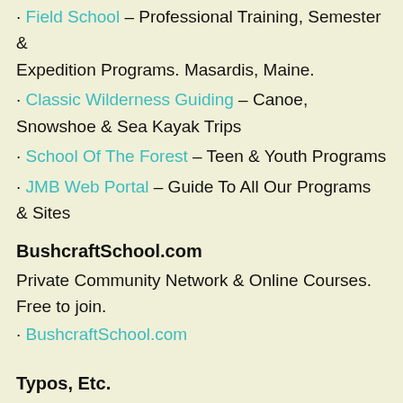· Field School – Professional Training, Semester & Expedition Programs. Masardis, Maine.
· Classic Wilderness Guiding – Canoe, Snowshoe & Sea Kayak Trips
· School Of The Forest – Teen & Youth Programs
· JMB Web Portal – Guide To All Our Programs & Sites
BushcraftSchool.com
Private Community Network & Online Courses. Free to join.
· BushcraftSchool.com
Typos, Etc.
Anything that appears to be an error in spelling or grammar is actually the author's clever use of the vernacular, and as such is not an error, but rather a carefully placed literary device demonstrating prodigious artistic prowess.